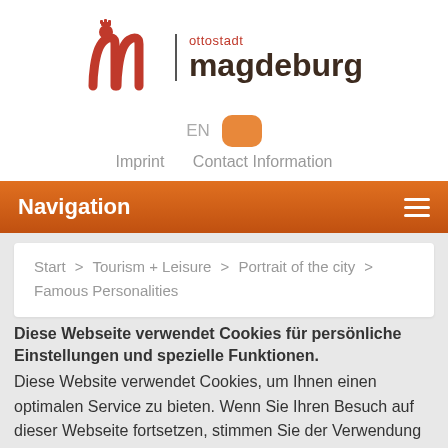[Figure (logo): Ottostadt Magdeburg logo with stylized horse rider icon and city name in orange/dark brown text]
EN
Imprint   Contact Information
Navigation
Start > Tourism + Leisure > Portrait of the city > Famous Personalities
Diese Webseite verwendet Cookies für persönliche Einstellungen und spezielle Funktionen.
Diese Website verwendet Cookies, um Ihnen einen optimalen Service zu bieten. Wenn Sie Ihren Besuch auf dieser Webseite fortsetzen, stimmen Sie der Verwendung von Cookies zu.